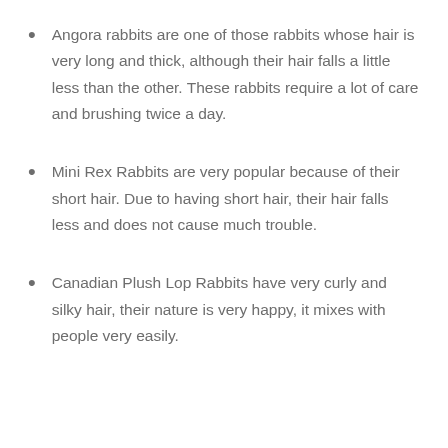Angora rabbits are one of those rabbits whose hair is very long and thick, although their hair falls a little less than the other. These rabbits require a lot of care and brushing twice a day.
Mini Rex Rabbits are very popular because of their short hair. Due to having short hair, their hair falls less and does not cause much trouble.
Canadian Plush Lop Rabbits have very curly and silky hair, their nature is very happy, it mixes with people very easily.